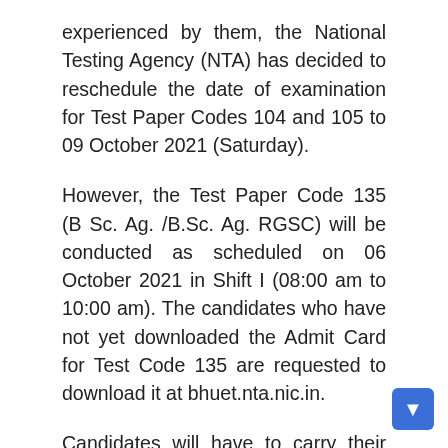experienced by them, the National Testing Agency (NTA) has decided to reschedule the date of examination for Test Paper Codes 104 and 105 to 09 October 2021 (Saturday).
However, the Test Paper Code 135 (B Sc. Ag. /B.Sc. Ag. RGSC) will be conducted as scheduled on 06 October 2021 in Shift I (08:00 am to 10:00 am). The candidates who have not yet downloaded the Admit Card for Test Code 135 are requested to download it at bhuet.nta.nic.in.
Candidates will have to carry their admit card with a self-declaration certificate downloaded from the official website of the Agency, a ballpoint pen, additional